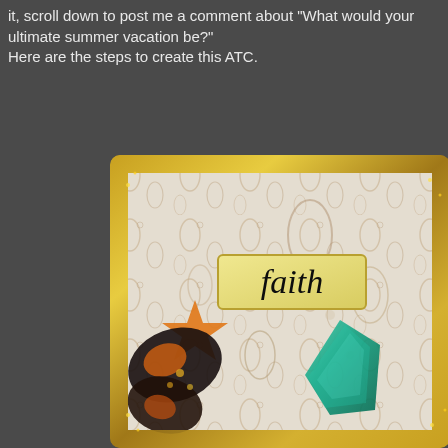it, scroll down to post me a comment about "What would your ultimate summer vacation be?" Here are the steps to create this ATC.
[Figure (photo): Close-up photo of an ATC (Artist Trading Card) with a gold glitter border, decorative paisley background, an orange star shape, a dark butterfly, a teal iridescent feather or gem element, and a gold tag in the center with 'faith' written in cursive black handwriting.]